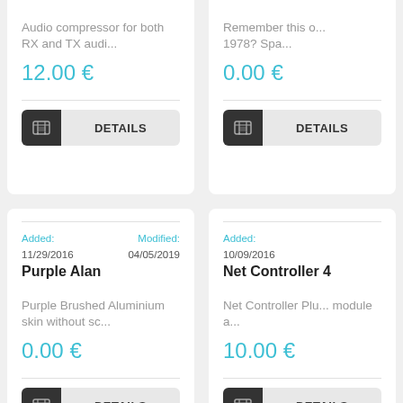Audio compressor for both RX and TX audi...
12.00 €
DETAILS
Remember this o... 1978? Spa...
0.00 €
DETAILS
Added: 11/29/2016   Modified: 04/05/2019
Purple Alan
Purple Brushed Aluminium skin without sc...
0.00 €
DETAILS
Added: 10/09/2016
Net Controller 4
Net Controller Plu... module a...
10.00 €
DETAILS